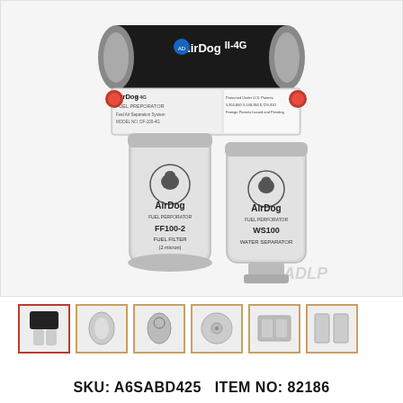[Figure (photo): AirDog II-4G Fuel Preporator fuel air separation system with two filter canisters: FF100-2 Fuel Filter (2 micron) and WS100 Water Separator. Model No. DF-100-4G. CARB Executive Order D-452-8/505-1. Protected under U.S. Patents 5,355,860; 5,148,184; 6,729,310. Foreign Patents Issued and Pending. ADLP watermark in lower right.]
[Figure (photo): Thumbnail 1: AirDog II-4G unit front view]
[Figure (photo): Thumbnail 2: Component detail view]
[Figure (photo): Thumbnail 3: Filter canister detail]
[Figure (photo): Thumbnail 4: CD/disc included]
[Figure (photo): Thumbnail 5: Installation hardware/brackets]
[Figure (photo): Thumbnail 6: Parts/components layout]
SKU: A6SABD425   ITEM NO: 82186